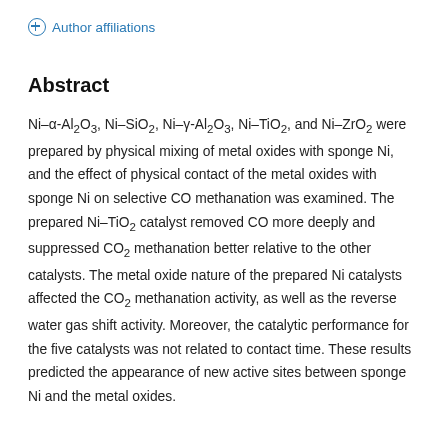Author affiliations
Abstract
Ni–α-Al₂O₃, Ni–SiO₂, Ni–γ-Al₂O₃, Ni–TiO₂, and Ni–ZrO₂ were prepared by physical mixing of metal oxides with sponge Ni, and the effect of physical contact of the metal oxides with sponge Ni on selective CO methanation was examined. The prepared Ni–TiO₂ catalyst removed CO more deeply and suppressed CO₂ methanation better relative to the other catalysts. The metal oxide nature of the prepared Ni catalysts affected the CO₂ methanation activity, as well as the reverse water gas shift activity. Moreover, the catalytic performance for the five catalysts was not related to contact time. These results predicted the appearance of new active sites between sponge Ni and the metal oxides.